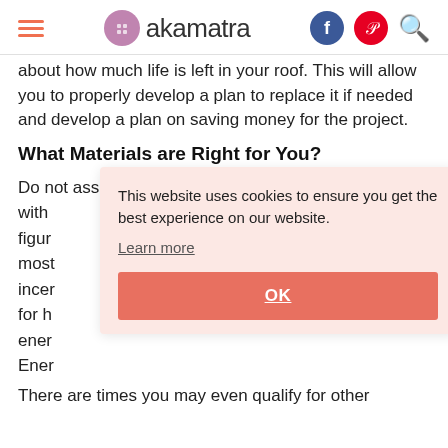akamatra
about how much life is left in your roof. This will allow you to properly develop a plan to replace it if needed and develop a plan on saving money for the project.
What Materials are Right for You?
Do not assume that you must replace the existing roof with [partially obscured] figure [partially obscured] most [partially obscured] incen [partially obscured] for h [partially obscured] energ [partially obscured] Energ [partially obscured]
[Figure (screenshot): Cookie consent banner overlay with pink background reading 'This website uses cookies to ensure you get the best experience on our website.' with a 'Learn more' link and an OK button in salmon/coral color.]
There are times you may even qualify for other